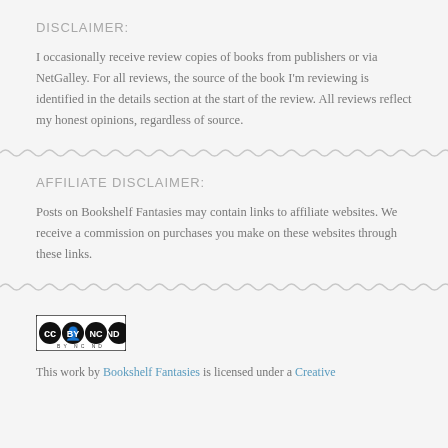DISCLAIMER:
I occasionally receive review copies of books from publishers or via NetGalley. For all reviews, the source of the book I'm reviewing is identified in the details section at the start of the review. All reviews reflect my honest opinions, regardless of source.
AFFILIATE DISCLAIMER:
Posts on Bookshelf Fantasies may contain links to affiliate websites. We receive a commission on purchases you make on these websites through these links.
[Figure (logo): Creative Commons license badge showing CC BY NC ND icons]
This work by Bookshelf Fantasies is licensed under a Creative